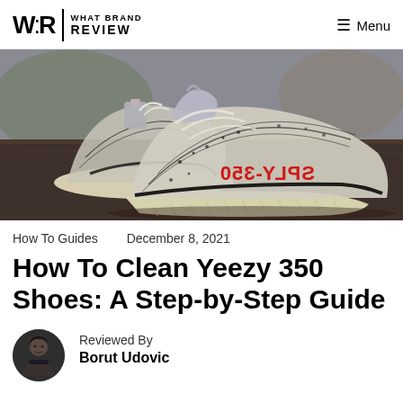W:R | WHAT BRAND REVIEW   Menu
[Figure (photo): Two Adidas Yeezy Boost 350 sneakers (Zebra colorway) photographed from the side on a wooden surface. The shoes show the distinctive knit upper pattern with black and white stripes, cream/translucent sole, and red SPLY-350 text on the side. One shoe is flipped showing the sole.]
How To Guides    December 8, 2021
How To Clean Yeezy 350 Shoes: A Step-by-Step Guide
[Figure (photo): Circular author avatar photo of Borut Udovic, a young man with dark hair wearing dark clothing]
Reviewed By
Borut Udovic